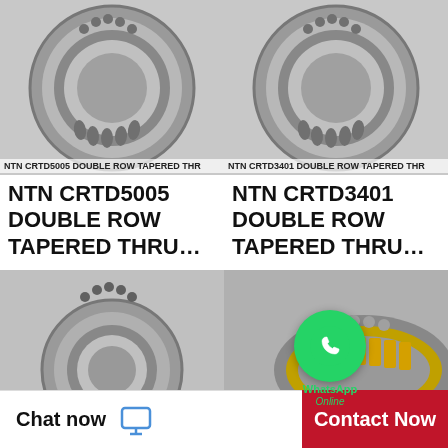[Figure (photo): NTN CRTD5005 double row tapered thrust bearing, top-down view showing grey metallic ring with roller elements]
NTN CRTD5005 DOUBLE ROW TAPERED THR
NTN CRTD5005 DOUBLE ROW TAPERED THRU…
[Figure (photo): NTN CRTD3401 double row tapered thrust bearing, top-down view showing grey metallic ring with roller elements]
NTN CRTD3401 DOUBLE ROW TAPERED THR
NTN CRTD3401 DOUBLE ROW TAPERED THRU…
[Figure (photo): Tapered bearing cup/cone partial view from above, grey metallic]
[Figure (photo): Cylindrical roller thrust bearing assembly with gold-colored cage, metallic rollers visible]
[Figure (logo): WhatsApp green circle logo with phone handset icon, labeled WhatsApp Online]
Chat now   Contact Now